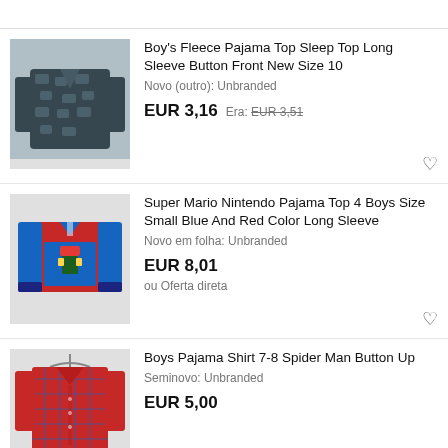[Figure (photo): Boy's fleece pajama top with blue pattern, long sleeve button front]
Boy's Fleece Pajama Top Sleep Top Long Sleeve Button Front New Size 10
Novo (outro): Unbranded
EUR 3,16  Era: EUR 3,51
[Figure (photo): Super Mario Nintendo pajama top, blue and red, long sleeve]
Super Mario Nintendo Pajama Top 4 Boys Size Small Blue And Red Color Long Sleeve
Novo em folha: Unbranded
EUR 8,01
ou Oferta direta
[Figure (photo): Boys Pajama Shirt 7-8 Spider-Man button up, red with blue pattern]
Boys Pajama Shirt 7-8 Spider Man Button Up
Seminovo: Unbranded
EUR 5,00